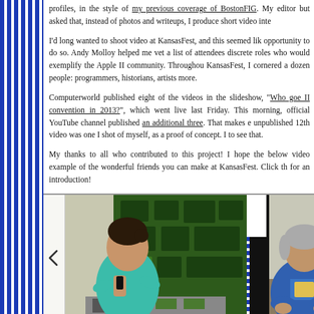profiles, in the style of my previous coverage of BostonFIG. My editor but asked that, instead of photos and writeups, I produce short video inte
I'd long wanted to shoot video at KansasFest, and this seemed like an opportunity to do so. Andy Molloy helped me vet a list of attendees with discrete roles who would exemplify the Apple II community. Throughout KansasFest, I cornered a dozen people: programmers, historians, artists, more.
Computerworld published eight of the videos in the slideshow, "Who goes to an Apple II convention in 2013?", which went live last Friday. This morning, the official YouTube channel published an additional three. That makes eleven. The unpublished 12th video was one I shot of myself, as a proof of concept. I'll leave it to see that.
My thanks to all who contributed to this project! I hope the below videos serve as an example of the wonderful friends you can make at KansasFest. Click the thumbnail for an introduction!
[Figure (photo): Two video thumbnails side by side: left shows a woman in a teal shirt speaking in front of green fabric works; right shows a man in a blue shirt sitting at a desk.]